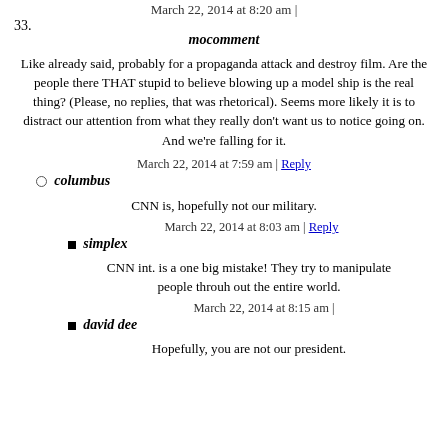March 22, 2014 at 8:20 am |
33.  mocomment
Like already said, probably for a propaganda attack and destroy film. Are the people there THAT stupid to believe blowing up a model ship is the real thing? (Please, no replies, that was rhetorical). Seems more likely it is to distract our attention from what they really don't want us to notice going on. And we're falling for it.
March 22, 2014 at 7:59 am | Reply
columbus
CNN is, hopefully not our military.
March 22, 2014 at 8:03 am | Reply
simplex
CNN int. is a one big mistake! They try to manipulate people throuh out the entire world.
March 22, 2014 at 8:15 am |
david dee
Hopefully, you are not our president.